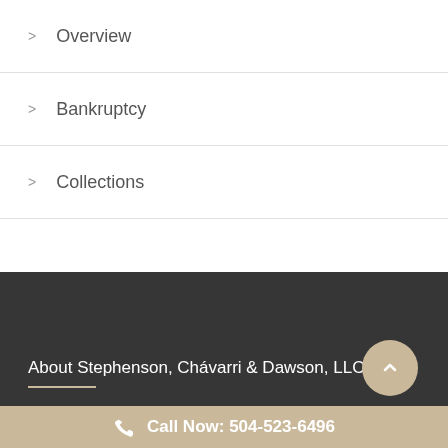> Overview
> Bankruptcy
> Collections
About Stephenson, Chávarri & Dawson, LLC
Call Now: 504-523-6496